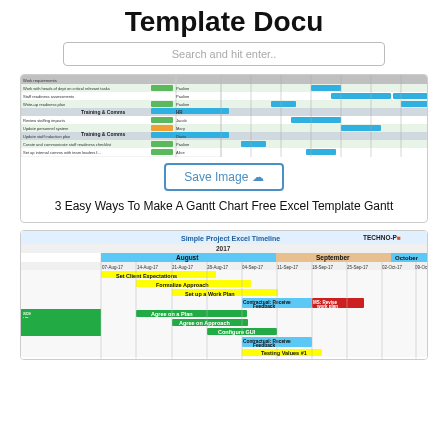Template Docu
Search and hit enter..
[Figure (screenshot): Gantt chart spreadsheet screenshot showing task rows with colored bars (green, blue, orange) representing project schedule. Columns include task names, responsible persons, and weekly date columns.]
Save Image ☁
3 Easy Ways To Make A Gantt Chart Free Excel Template Gantt
[Figure (screenshot): Simple Project Excel Timeline for 2017. Shows August, September, October columns with weekly date headers (07-Aug-17, 14-Aug-17, 21-Aug-17, 28-Aug-17, 04-Sep-17, 11-Sep-17, 18-Sep-17, 25-Sep-17, 02-Oct-17, 09-Oct). Tasks include: Set Client Expectations, Formalize Approach, Set up a Work Plan, Contractual: Receive Feedback, MS: Revise work plan, Agree on a Plan, Agree on Approach, Configure GUI, Contractual: Receive Feedback, Testing Values #1. Colored cells: yellow, green, dark green, red, peach/tan headers. Logo: TECHNO-P in top right.]